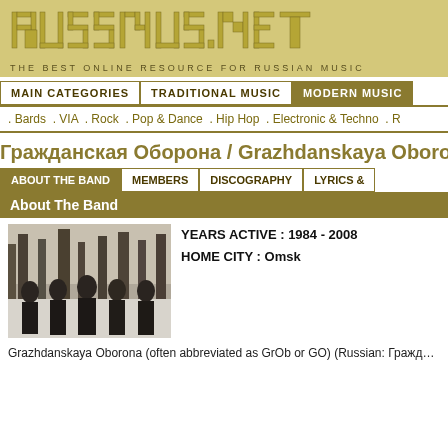[Figure (logo): RUSSMUS.NET logo with pixelated/block font, gold/yellow color]
THE BEST ONLINE RESOURCE FOR RUSSIAN MUSIC
MAIN CATEGORIES | TRADITIONAL MUSIC | MODERN MUSIC
. Bards . VIA . Rock . Pop & Dance . Hip Hop . Electronic & Techno . R
Гражданская Оборона / Grazhdanskaya Oboro
ABOUT THE BAND | MEMBERS | DISCOGRAPHY | LYRICS &
About The Band
[Figure (photo): Black and white group photo of the band members standing outdoors among trees in winter]
YEARS ACTIVE : 1984 - 2008
HOME CITY : Omsk
Grazhdanskaya Oborona (often abbreviated as GrOb or GO) (Russian: Гражд… [one of the leading underground Russian punk bands]